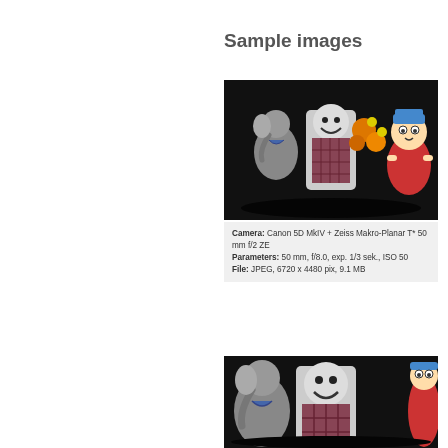Sample images
[Figure (photo): A group of toy figurines including stuffed animals, a skeleton/clown figure with flowers, and a South Park Cartman plushie, photographed against a dark background.]
Camera: Canon 5D MkIV + Zeiss Makro-Planar T* 50 mm f/2 ZE
Parameters: 50 mm, f/8.0, exp. 1/3 sek., ISO 50
File: JPEG, 6720 x 4480 pix, 9.1 MB
[Figure (photo): A cropped/zoomed version of the same group of toy figurines, showing the stuffed elephant, clown figure with orange roses, and Cartman plushie against a dark background.]